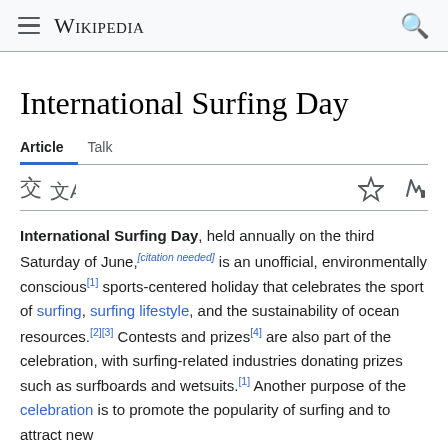Wikipedia
International Surfing Day
Article   Talk
International Surfing Day, held annually on the third Saturday of June,[citation needed] is an unofficial, environmentally conscious[1] sports-centered holiday that celebrates the sport of surfing, surfing lifestyle, and the sustainability of ocean resources.[2][3] Contests and prizes[4] are also part of the celebration, with surfing-related industries donating prizes such as surfboards and wetsuits.[1] Another purpose of the celebration is to promote the popularity of surfing and to attract new